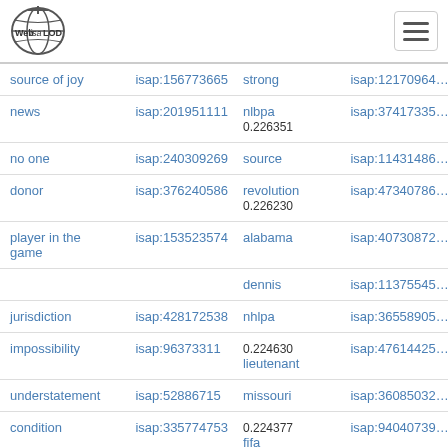Web isa LOD
| term | isap id | term | isap id |
| --- | --- | --- | --- |
| source of joy | isap:156773665 | strong | isap:121709640 |
| news | isap:201951111 | nlbpa
0.226351 | isap:374173350 |
| no one | isap:240309269 | source | isap:114314860 |
| donor | isap:376240586 | revolution
0.226230 | isap:473407860 |
| player in the game | isap:153523574 | alabama | isap:407308720 |
|  |  | dennis | isap:113755450 |
| jurisdiction | isap:428172538 | nhlpa | isap:365589050 |
| impossibility | isap:96373311 | 0.224630
lieutenant | isap:476144250 |
| understatement | isap:52886715 | missouri | isap:360850320 |
| condition | isap:335774753 | 0.224377
fifa | isap:940407390 |
| reform | isap:162787612 | nysut | isap:371400960 |